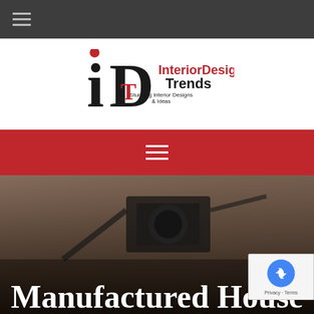[Figure (logo): Dark top navigation bar with hamburger menu icon (three horizontal lines in gray)]
[Figure (logo): Interior Design Trends logo — stylized 'iD' monogram in black and red with text 'InteriorDesign Trends' and tagline 'Stunning Interior Designs & Ideas']
[Figure (other): Red navigation bar with white hamburger menu icon (three horizontal lines)]
[Figure (photo): Dark blurred photo background showing a camera/photography equipment on textured brown fabric, with large white text 'Manufactured House' at the bottom. A reCAPTCHA badge appears in the lower right with Privacy and Terms links.]